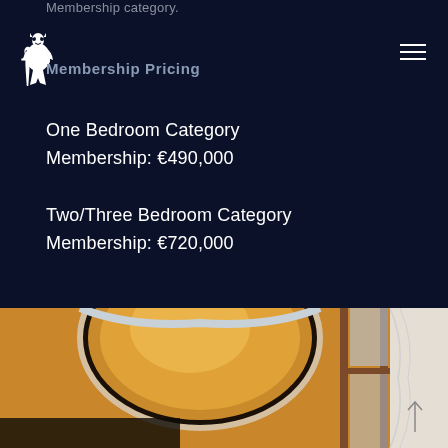Membership category.
Membership Pricing
One Bedroom Category
Membership: €490,000
Two/Three Bedroom Category
Membership: €720,000
[Figure (photo): Interior hotel room showing a large round mirror with warm amber/golden wall color, wooden framed window with sheer white curtain, elegant decor]